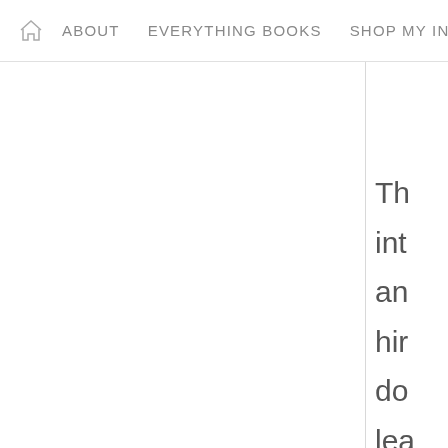ABOUT   EVERYTHING BOOKS   SHOP MY INSTA
Th
int
an
hir
do
lea